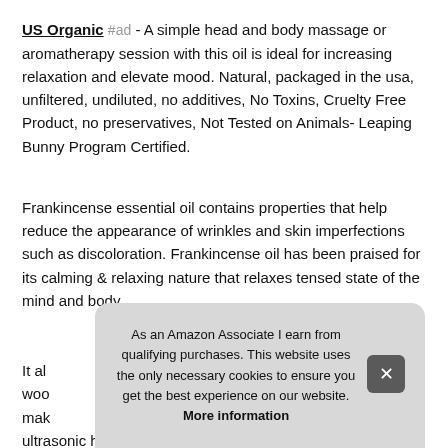US Organic #ad - A simple head and body massage or aromatherapy session with this oil is ideal for increasing relaxation and elevate mood. Natural, packaged in the usa, unfiltered, undiluted, no additives, No Toxins, Cruelty Free Product, no preservatives, Not Tested on Animals- Leaping Bunny Program Certified.
Frankincense essential oil contains properties that help reduce the appearance of wrinkles and skin imperfections such as discoloration. Frankincense oil has been praised for its calming & relaxing nature that relaxes tensed state of the mind and body.
More information #ad
It al... woo... mak... ultrasonic humidifiers to fill the interiors with a calming aroma
As an Amazon Associate I earn from qualifying purchases. This website uses the only necessary cookies to ensure you get the best experience on our website. More information